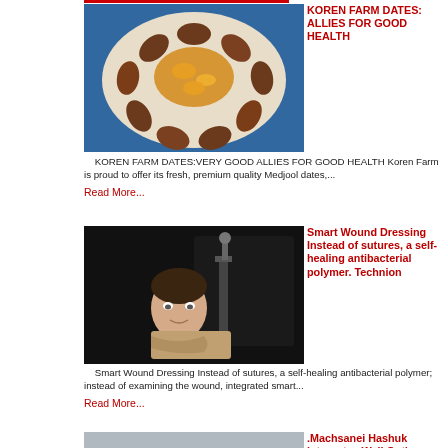[Figure (photo): Plate of Medjool dates with yellow-orange filling arranged on a decorative plate on a blue tablecloth]
KOREN FARM DATES: ALLIES FOR GOOD HEALTH
KOREN FARM DATES:VERY GOOD ALLIES FOR GOOD HEALTH Koren Farm is proud to offer its fresh, premium quality Medjool dates,...
Read More...
[Figure (photo): Man with crossed arms posing in front of laboratory equipment]
Smart Wound Dressing Instead of sutures, a self-healing antibacterial polymer. Technion
Smart Wound Dressing Instead of sutures, a self-healing antibacterial polymer; instead of examining the wound, integrated smart...
Read More...
[Figure (photo): Shopping cart with smart tablet/screen mounted on it in a store aisle]
.Machsanei Hashuk integrates WalkOut's smart-cart solution in all its branches
. WalkOut has developed a system for smart carts that identifies products that are loaded and removed from the cart using cameras with the...
Read More...